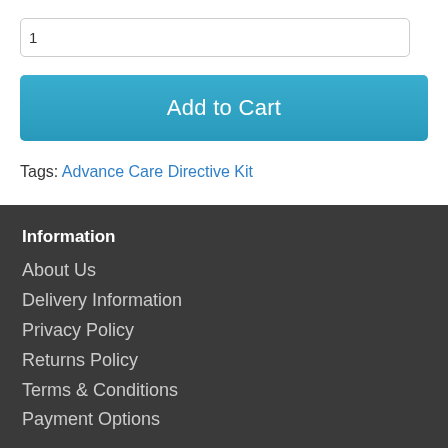1
Add to Cart
Tags: Advance Care Directive Kit
Information
About Us
Delivery Information
Privacy Policy
Returns Policy
Terms & Conditions
Payment Options